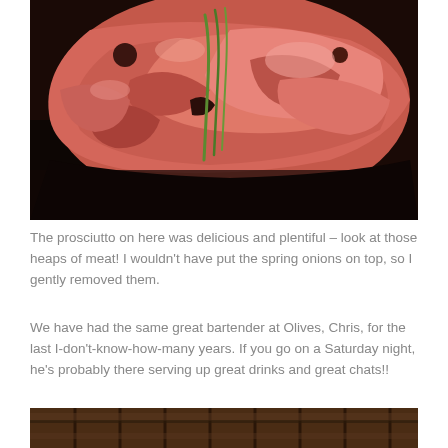[Figure (photo): Close-up photo of prosciutto (cured meat) with spring onions on top, showing thin pink slices of meat piled high on a dark surface]
The prosciutto on here was delicious and plentiful – look at those heaps of meat! I wouldn't have put the spring onions on top, so I gently removed them.
We have had the same great bartender at Olives, Chris, for the last I-don't-know-how-many years. If you go on a Saturday night, he's probably there serving up great drinks and great chats!!
[Figure (photo): Partial view of what appears to be wine barrels or wooden furniture in a restaurant setting]